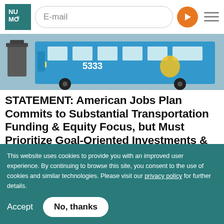NUMO logo, E-mail input, Go button, Menu icon
[Figure (photo): A blue transit bus numbered 5333 at a stop, with a grey trash can visible to the left.]
STATEMENT: American Jobs Plan Commits to Substantial Transportation Funding & Equity Focus, but Must Prioritize Goal-Oriented Investments & Access to Opportunity
Biden's American Jobs Plan commits to substantial transportation funding
This website uses cookies to provide you with an improved user experience. By continuing to browse this site, you consent to the use of cookies and similar technologies. Please visit our privacy policy for further details.